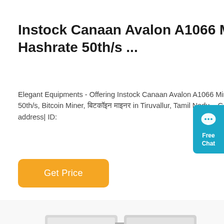Instock Canaan Avalon A1066 Miner With Hashrate 50th/s ...
Elegant Equipments - Offering Instock Canaan Avalon A1066 Miner With Hashrate 50th/s, Bitcoin Miner, बिटकॉइन माइनर in Tiruvallur, Tamil Nadu. . Get contact details and address| ID:
[Figure (other): Get Price orange button]
[Figure (other): Free Chat widget in blue on right side]
[Figure (photo): Product photo of Canaan Avalon A1066 Bitcoin miner hardware, silver/white rectangular device with cooling fans, partially cropped at bottom of page]